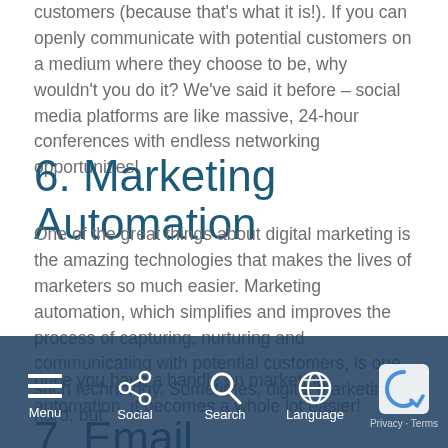customers (because that's what it is!). If you can openly communicate with potential customers on a medium where they choose to be, why wouldn't you do it? We've said it before – social media platforms are like massive, 24-hour conferences with endless networking opportunities!
6. Marketing Automation
One of the great things about digital marketing is the amazing technologies that makes the lives of marketers so much easier. Marketing automation, which simplifies and improves the process of capturing, nurturing and communicating with potential customers, is one such technology. Sometimes, digital marketing is hard, but once you have a handle on marketing automation, it becomes a whole lot easier!
7. Email
[Figure (other): Mobile navigation bar overlay with Menu, Social, Search, Language icons and a CAPTCHA widget]